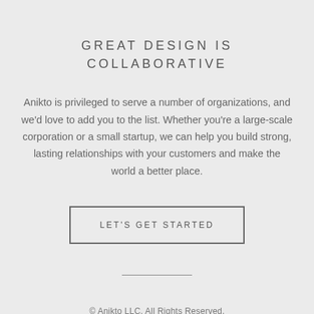GREAT DESIGN IS COLLABORATIVE
Anikto is privileged to serve a number of organizations, and we'd love to add you to the list. Whether you're a large-scale corporation or a small startup, we can help you build strong, lasting relationships with your customers and make the world a better place.
LET'S GET STARTED
© Anikto LLC. All Rights Reserved.